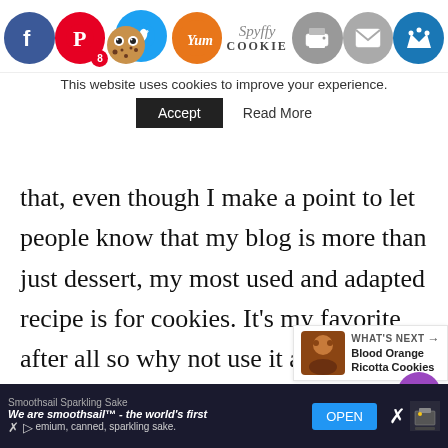[Figure (screenshot): Website header with social sharing icons: Facebook (blue), Pinterest (red, badge 8), Twitter (blue), Yummly (orange), Print (gray), Email (gray), Crown (blue). Cookie mascot logo and Spyffy Cookie brand text visible.]
This website uses cookies to improve your experience.
Accept   Read More
that, even though I make a point to let people know that my blog is more than just dessert, my most used and adapted recipe is for cookies. It's my favorite after all so why not use it as the base for all other cookie ideas I come up with? I even made a separate post that I try to keep up to date with the variations from which have been created. Sometimes I think I couldn't possibly come up with another variation but then I remember I have a list of combinations and possibilities and
[Figure (screenshot): WHAT'S NEXT arrow label with Blood Orange Ricotta Cookies thumbnail and title]
[Figure (screenshot): Advertisement bar: Smoothsail Sparkling Sake - We are smoothsail - the world's first premium, canned, sparkling sake. OPEN button.]